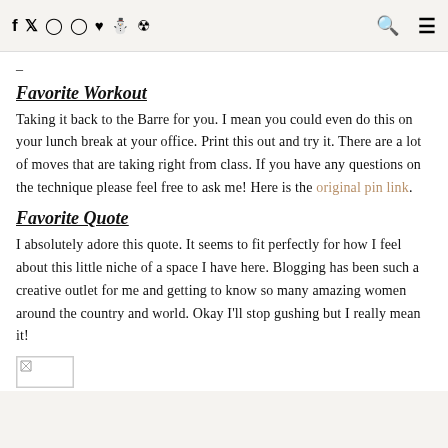f  t  o  p  ♥  s  ☺  [search] [menu]
–
Favorite Workout
Taking it back to the Barre for you. I mean you could even do this on your lunch break at your office. Print this out and try it. There are a lot of moves that are taking right from class. If you have any questions on the technique please feel free to ask me! Here is the original pin link.
Favorite Quote
I absolutely adore this quote. It seems to fit perfectly for how I feel about this little niche of a space I have here. Blogging has been such a creative outlet for me and getting to know so many amazing women around the country and world. Okay I'll stop gushing but I really mean it!
[Figure (photo): Broken image placeholder at bottom of page]